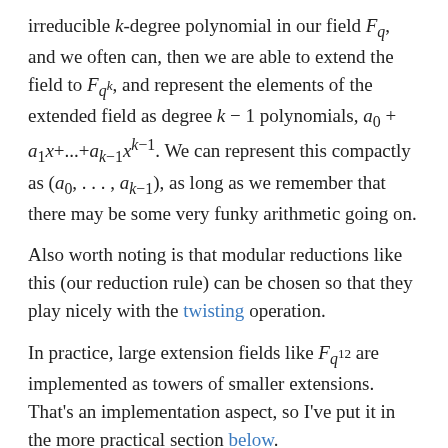irreducible k-degree polynomial in our field F_q, and we often can, then we are able to extend the field to F_{q^k}, and represent the elements of the extended field as degree k − 1 polynomials, a_0 + a_1 x+...+a_{k−1} x^{k−1}. We can represent this compactly as (a_0,...,a_{k−1}), as long as we remember that there may be some very funky arithmetic going on.
Also worth noting is that modular reductions like this (our reduction rule) can be chosen so that they play nicely with the twisting operation.
In practice, large extension fields like F_{q^{12}} are implemented as towers of smaller extensions. That's an implementation aspect, so I've put it in the more practical section below.
The curves
One of the initially non-obvious things about BLS12-381